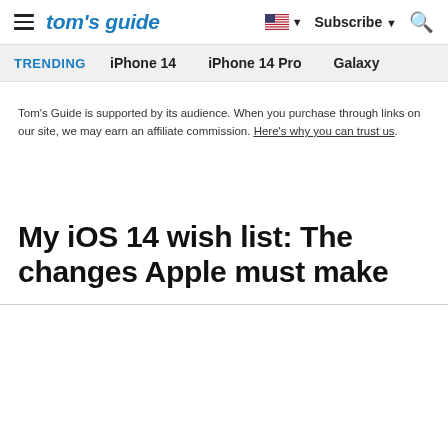tom's guide — Subscribe — (flag)
TRENDING  iPhone 14  iPhone 14 Pro  Galaxy
Tom's Guide is supported by its audience. When you purchase through links on our site, we may earn an affiliate commission. Here's why you can trust us.
My iOS 14 wish list: The changes Apple must make